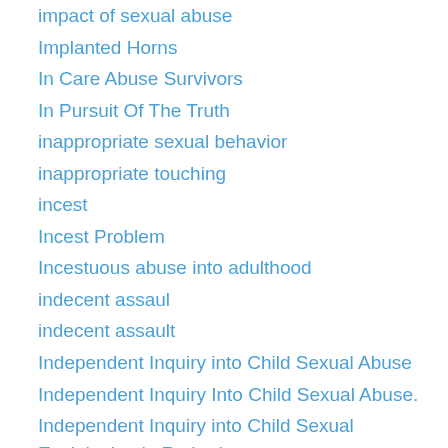impact of sexual abuse
Implanted Horns
In Care Abuse Survivors
In Pursuit Of The Truth
inappropriate sexual behavior
inappropriate touching
incest
Incest Problem
Incestuous abuse into adulthood
indecent assaul
indecent assault
Independent Inquiry into Child Sexual Abuse
Independent Inquiry Into Child Sexual Abuse.
Independent Inquiry into Child Sexual Exploitation in Rotherham
Independent Police Complaints Commission
Independent Reconciliation and Compensation Program
India rape cases
India's Marital Rape Crisis
India's Temple Slaves
Indian ritual sacrifice